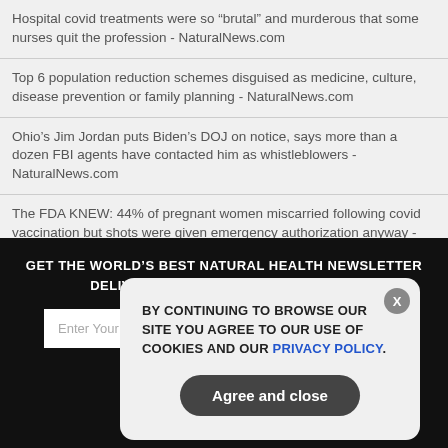Hospital covid treatments were so “brutal” and murderous that some nurses quit the profession - NaturalNews.com
Top 6 population reduction schemes disguised as medicine, culture, disease prevention or family planning - NaturalNews.com
Ohio’s Jim Jordan puts Biden’s DOJ on notice, says more than a dozen FBI agents have contacted him as whistleblowers - NaturalNews.com
The FDA KNEW: 44% of pregnant women miscarried following covid vaccination but shots were given emergency authorization anyway - NaturalNews.com
Steve Kirsch estimates between 5M and 12M people have been killed by COVID clot shots worldwide (so far) - NaturalNews.com
GET THE WORLD'S BEST NATURAL HEALTH NEWSLETTER DELIVERED STRAIGHT TO YOUR INBOX
BY CONTINUING TO BROWSE OUR SITE YOU AGREE TO OUR USE OF COOKIES AND OUR PRIVACY POLICY.
Agree and close